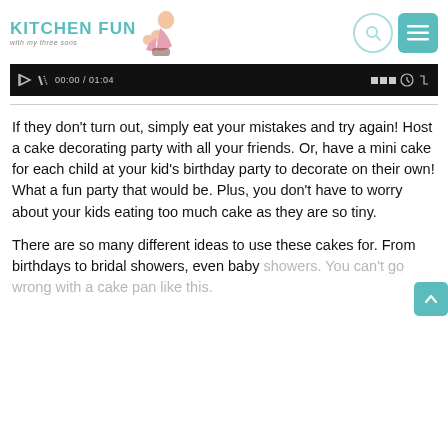KITCHEN FUN with my three sons
[Figure (screenshot): Video player control bar showing timestamp 00:00 / 01:04 with playback controls on dark background]
If they don't turn out, simply eat your mistakes and try again! Host a cake decorating party with all your friends. Or, have a mini cake for each child at your kid's birthday party to decorate on their own! What a fun party that would be. Plus, you don't have to worry about your kids eating too much cake as they are so tiny.
There are so many different ideas to use these cakes for. From birthdays to bridal showers, even baby showers. You can't go wrong with a cake pan like this.